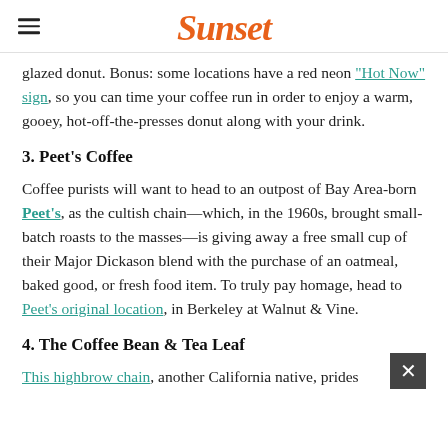Sunset
glazed donut. Bonus: some locations have a red neon “Hot Now” sign, so you can time your coffee run in order to enjoy a warm, gooey, hot-off-the-presses donut along with your drink.
3. Peet’s Coffee
Coffee purists will want to head to an outpost of Bay Area-born Peet’s, as the cultish chain—which, in the 1960s, brought small-batch roasts to the masses—is giving away a free small cup of their Major Dickason blend with the purchase of an oatmeal, baked good, or fresh food item. To truly pay homage, head to Peet’s original location, in Berkeley at Walnut & Vine.
4. The Coffee Bean & Tea Leaf
This highbrow chain, another California native, prides